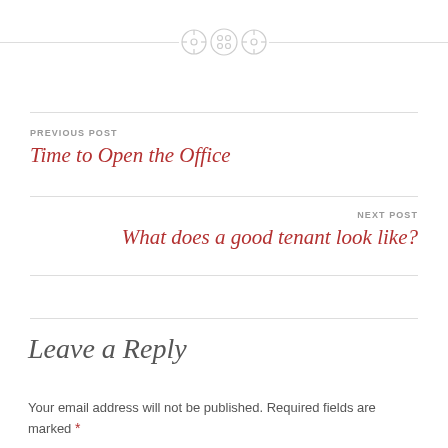[Figure (illustration): Three decorative button icons with a dashed horizontal divider line on both sides]
PREVIOUS POST
Time to Open the Office
NEXT POST
What does a good tenant look like?
Leave a Reply
Your email address will not be published. Required fields are marked *